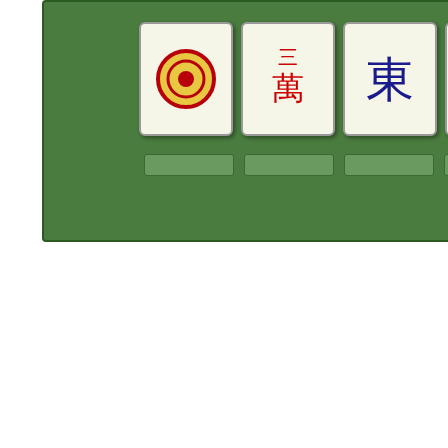[Figure (illustration): Mahjong game interface showing four tiles on a green felt background: a circle tile, a Chinese character tile (三萬), an East wind tile (東), and a West wind tile (西), with button slots below.]
Diamond Crown - For every free satellite seats. Gold Crown - For every 1 free satellite seats. Silver Crown - For every satellite seat.
Here are the $2
Madness Tournament
Prize Pool: $1000; 1st - $
Rules: RCR
Tournament Rounds: Or round.
Min. Points: 1 Yaku
Players: 16
Play Time: 180 min.
Date and Time: Saturday US/Pacific(PDT) 7:00 AM Tokyo(UTC+9) 23:00 Singapore 22:00 Europe/London(GMT) 15: Buy - in directly to the tou